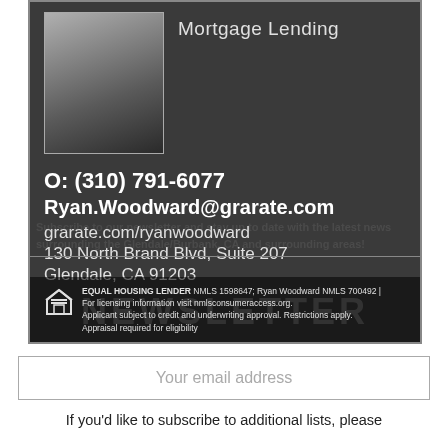Mortgage Lending
O: (310) 791-6077
Ryan.Woodward@grarate.com
grarate.com/ryanwoodward
130 North Brand Blvd, Suite 207
Glendale, CA 91203
NEWSLETTER
EQUAL HOUSING LENDER  NMLS 1598647; Ryan Woodward NMLS 700492 | For licensing information visit nmlsconsumeraccess.org. Applicant subject to credit and underwriting approval. Restrictions apply. Appraisal required for eligibility
Your email address
If you'd like to subscribe to additional lists, please